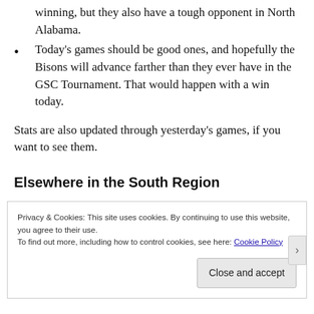winning, but they also have a tough opponent in North Alabama.
Today's games should be good ones, and hopefully the Bisons will advance farther than they ever have in the GSC Tournament. That would happen with a win today.
Stats are also updated through yesterday's games, if you want to see them.
Elsewhere in the South Region
Privacy & Cookies: This site uses cookies. By continuing to use this website, you agree to their use.
To find out more, including how to control cookies, see here: Cookie Policy
Close and accept